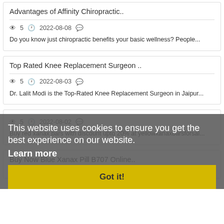Advantages of Affinity Chiropractic..
👁 5  🕐 2022-08-08  💬
Do you know just chiropractic benefits your basic wellness? People...
Top Rated Knee Replacement Surgeon ..
👁 5  🕐 2022-08-03  💬
Dr. Lalit Modi is the Top-Rated Knee Replacement Surgeon in Jaipur...
This website uses cookies to ensure you get the best experience on our website.
Learn more
👁 5  🕐 2022-08-02  💬
Buy red xanax bars with discount upto 20% at yellowxanaxbarsforsal...
Got it!
Buy Now Blue Xanax Pill B707 Online..